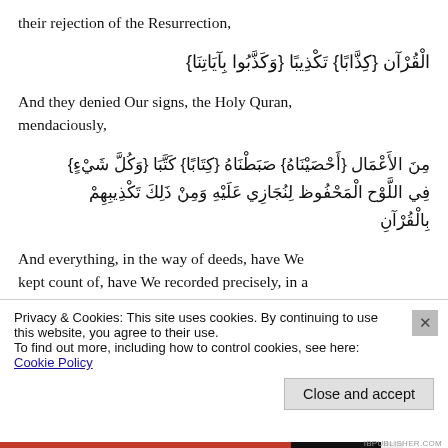their rejection of the Resurrection,
الْقُرْآن {كِذَّابًا} تَكْذِيبًا {وَكَذَّبُوا بِآيَاتِنَا}
And they denied Our signs, the Holy Quran, mendaciously,
مِنَ الأَعْمَال {أَحْصَيْنَاهُ} صَبَطْنَاهُ {كِتَابًا} كَتَّبَا {وَكُلَّ شَيْءٍ} فِي اللَّوْح الْمَحْفُوظ لِنُجَازِي عَلَيْهِ وَمِنْ ذَلِكَ تَكْذِيبِهِمْ بِالْقُرْآنِ
And everything, in the way of deeds, have We kept count of, have We recorded precisely, in a Book, as [individual] written records in the
Privacy & Cookies: This site uses cookies. By continuing to use this website, you agree to their use.
To find out more, including how to control cookies, see here: Cookie Policy
Close and accept